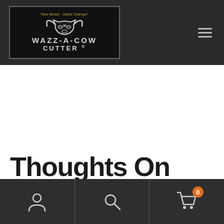[Figure (logo): Wazz-A-Cow Cutter logo on dark background with bull head silhouette and tagline 'New Breed - Game Changer']
Thoughts On Convenient Programs
[Figure (infographic): Bottom navigation bar with person/account icon, search/magnifier icon, and shopping cart icon with orange badge showing 0]